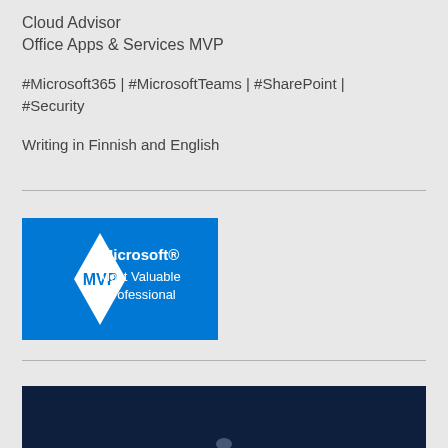Cloud Advisor
Office Apps & Services MVP
#Microsoft365 | #MicrosoftTeams | #SharePoint | #Security
Writing in Finnish and English
[Figure (logo): Microsoft MVP (Most Valuable Professional) logo — blue background with white diamond shape containing 'MVP' in blue text, and 'Microsoft® Most Valuable Professional' text in white]
[Figure (photo): Dark navy blue background image, partially visible at bottom of page]